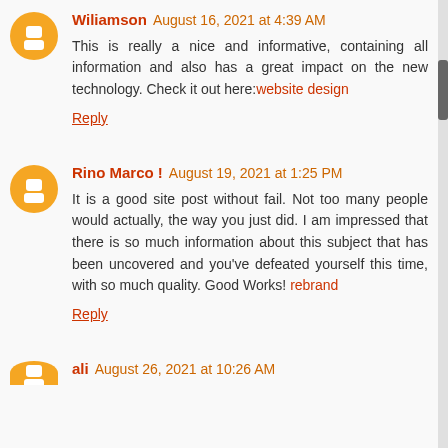Wiliamson August 16, 2021 at 4:39 AM — This is really a nice and informative, containing all information and also has a great impact on the new technology. Check it out here:website design — Reply
Rino Marco ! August 19, 2021 at 1:25 PM — It is a good site post without fail. Not too many people would actually, the way you just did. I am impressed that there is so much information about this subject that has been uncovered and you've defeated yourself this time, with so much quality. Good Works! rebrand — Reply
ali August 26, 2021 at 10:26 AM